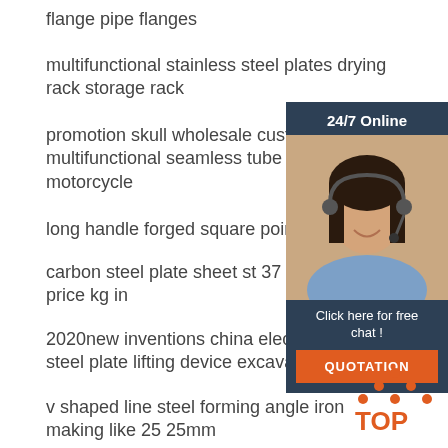flange pipe flanges
multifunctional stainless steel plates drying rack storage rack
promotion skull wholesale custom multifunctional seamless tube banda motorcycle
long handle forged square point ste...
carbon steel plate sheet st 37 s235j... price kg in
2020new inventions china electromagnetic steel plate lifting device excavator
v shaped line steel forming angle iron making like 25 25mm
[Figure (other): 24/7 online chat widget with customer service representative photo and QUOTATION button]